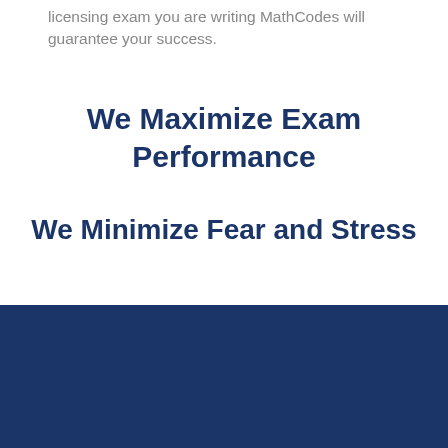licensing exam you are writing MathCodes will guarantee your success.
We Maximize Exam Performance
We Minimize Fear and Stress
We equip you with strategies, tactics and proven hacks for study and execution. Lessons are customized to suit your learning style and your needs.